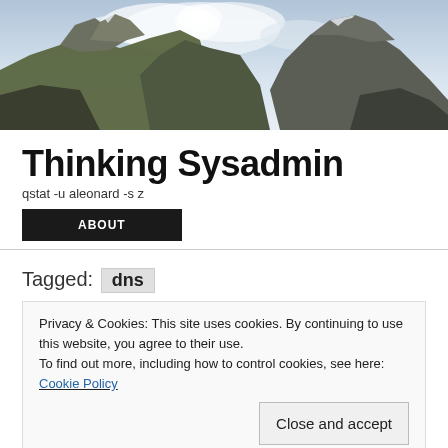[Figure (photo): Mountain landscape with rocky peaks, snow patches, and cloudy sky as website header image]
Thinking Sysadmin
qstat -u aleonard -s z
ABOUT
Tagged: dns
Privacy & Cookies: This site uses cookies. By continuing to use this website, you agree to their use. To find out more, including how to control cookies, see here: Cookie Policy
Close and accept
Amazon has announced a new authoritative DNS service – Route 53.